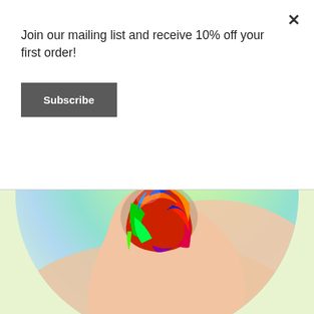Join our mailing list and receive 10% off your first order!
Subscribe
[Figure (photo): Circular cropped photo of a hand holding a fingernail painted with rainbow swirl art nail design on a pastel holographic green-yellow background, with white text overlay reading '100% ART' and 'KÄSINVÄRJÄTTY']